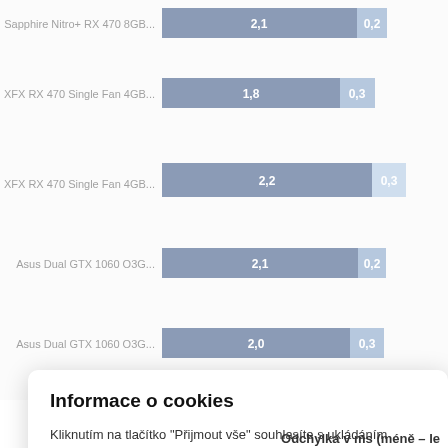[Figure (bar-chart): GPU comparison chart (partial)]
Informace o cookies
Kliknutím na tlačítko "Přijmout vše" souhlasíte s ukládáním souborů cookie do vašeho zařízení, což pomáhá při navigaci na webu, analýze využití dat a našich marketingových aktivitách.
Přijmout vše
Předvolby
Odchylka v ms (méně – le